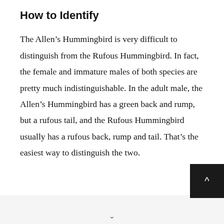How to Identify
The Allen's Hummingbird is very difficult to distinguish from the Rufous Hummingbird. In fact, the female and immature males of both species are pretty much indistinguishable. In the adult male, the Allen's Hummingbird has a green back and rump, but a rufous tail, and the Rufous Hummingbird usually has a rufous back, rump and tail. That's the easiest way to distinguish the two.